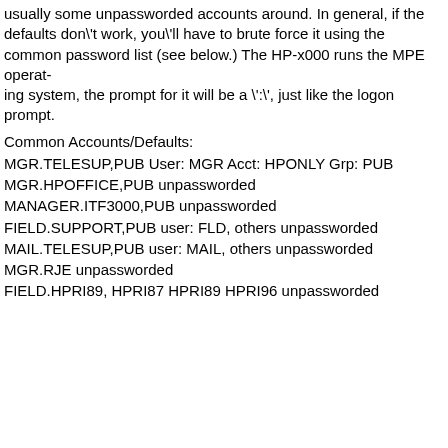usually some unpassworded accounts around. In general, if the defaults don\'t work, you\'ll have to brute force it using the common password list (see below.) The HP-x000 runs the MPE operating system, the prompt for it will be a \':\', just like the logon prompt.
Common Accounts/Defaults:
MGR.TELESUP,PUB User: MGR Acct: HPONLY Grp: PUB
MGR.HPOFFICE,PUB unpassworded
MANAGER.ITF3000,PUB unpassworded
FIELD.SUPPORT,PUB user: FLD, others unpassworded
MAIL.TELESUP,PUB user: MAIL, others unpassworded
MGR.RJE unpassworded
FIELD.HPRI89, HPRI87 HPRI89 HPRI96 unpassworded